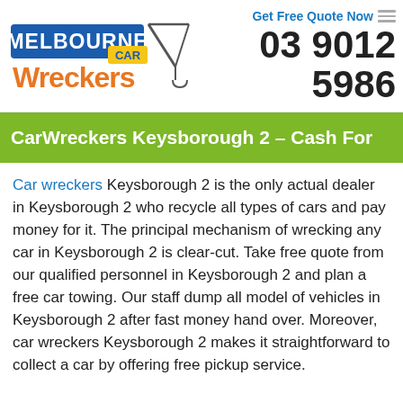[Figure (logo): Melbourne Car Wreckers logo with crane graphic, orange and blue text]
Get Free Quote Now
03 9012 5986
Car Wreckers Keysborough 2 – Cash For
Car wreckers Keysborough 2 is the only actual dealer in Keysborough 2 who recycle all types of cars and pay money for it. The principal mechanism of wrecking any car in Keysborough 2 is clear-cut. Take free quote from our qualified personnel in Keysborough 2 and plan a free car towing. Our staff dump all model of vehicles in Keysborough 2 after fast money hand over. Moreover, car wreckers Keysborough 2 makes it straightforward to collect a car by offering free pickup service.